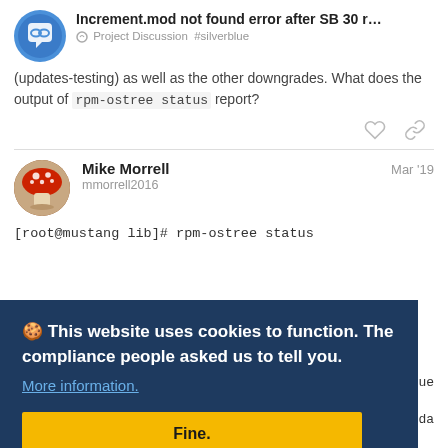Increment.mod not found error after SB 30 r… — Project Discussion #silverblue
(updates-testing) as well as the other downgrades. What does the output of rpm-ostree status report?
Mike Morrell — mmorrell2016 — Mar '19
[root@mustang lib]# rpm-ostree status
🍪 This website uses cookies to function. The compliance people asked us to tell you. More information. Fine.
rblue
7624da
F1D8EC98F241AAF20DF69420EF3C111FCFC659B9